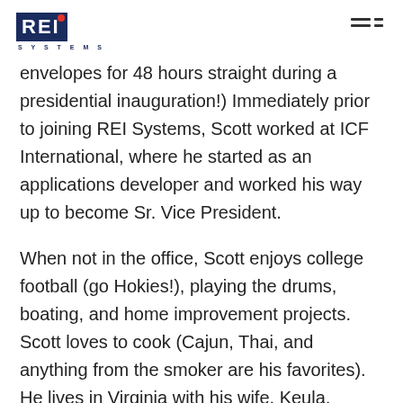REI SYSTEMS
envelopes for 48 hours straight during a presidential inauguration!) Immediately prior to joining REI Systems, Scott worked at ICF International, where he started as an applications developer and worked his way up to become Sr. Vice President.
When not in the office, Scott enjoys college football (go Hokies!), playing the drums, boating, and home improvement projects. Scott loves to cook (Cajun, Thai, and anything from the smoker are his favorites). He lives in Virginia with his wife, Keula,